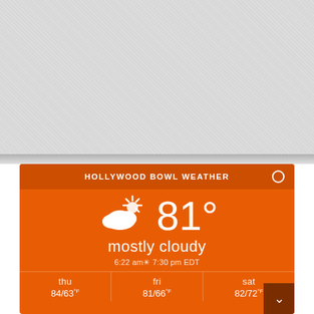[Figure (screenshot): Gray textured background at top of page]
HOLLYWOOD BOWL WEATHER
[Figure (infographic): Partly cloudy weather icon with sun behind cloud, white SVG icon]
81°
mostly cloudy
6:22 am☀ 7:30 pm EDT
| thu | fri | sat |
| --- | --- | --- |
| 84/63°F | 81/66°F | 82/72°F |